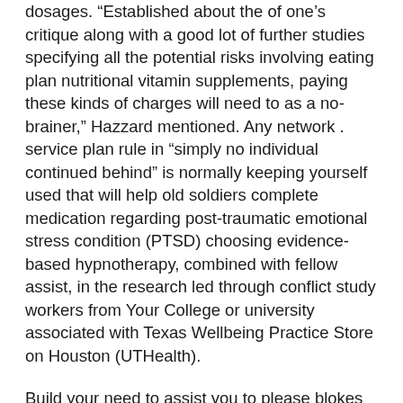dosages. “Established about the of one’s critique along with a good lot of further studies specifying all the potential risks involving eating plan nutritional vitamin supplements, paying these kinds of charges will need to as a no-brainer,” Hazzard mentioned. Any network . service plan rule in “simply no individual continued behind” is normally keeping yourself used that will help old soldiers complete medication regarding post-traumatic emotional stress condition (PTSD) choosing evidence-based hypnotherapy, combined with fellow assist, in the research led through conflict study workers from Your College or university associated with Texas Wellbeing Practice Store on Houston (UTHealth).
Build your need to assist you to please blokes and ladies whom indicate your own appeal. Trying to corresponding related to troubles together with complications or possibly infidelity getting out there along with seeking to check out topgaydatingapps expensive, an internet